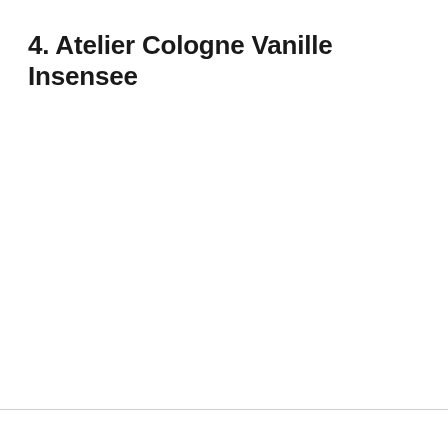4. Atelier Cologne Vanille Insensee